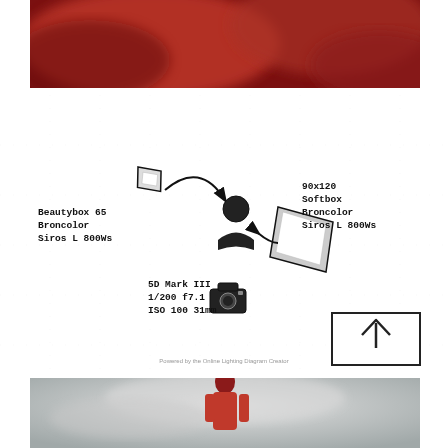[Figure (photo): Top blurred photo with dark red/maroon tones, likely a portrait background]
[Figure (schematic): Lighting diagram showing a beauty dish (Beautybox 65, Broncolor, Siros L 800Ws) on the left, a subject icon in the center, a 90x120 Softbox (Broncolor, Siros L 800Ws) on the right, and a camera (5D Mark III, 1/200 f7.1, ISO 100 31mm) at the bottom. Arrows indicate light direction. Arrow-up box in bottom right corner. Powered by the Online Lighting Diagram Creator.]
[Figure (photo): Bottom photo of a woman in a pink/red athletic top standing against a cloudy grey background, looking upward]